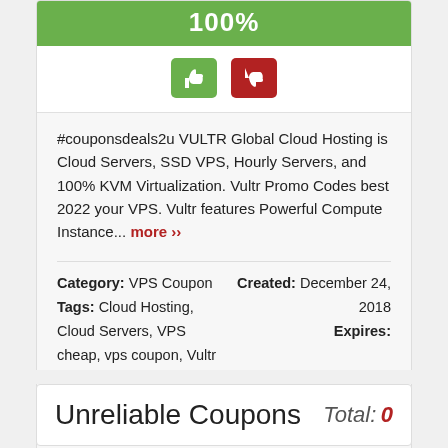[Figure (other): Green progress bar showing 100%]
[Figure (other): Thumbs up (green) and thumbs down (red) vote buttons]
#couponsdeals2u VULTR Global Cloud Hosting is Cloud Servers, SSD VPS, Hourly Servers, and 100% KVM Virtualization. Vultr Promo Codes best 2022 your VPS. Vultr features Powerful Compute Instance... more ››
Category: VPS Coupon
Tags: Cloud Hosting, Cloud Servers, VPS cheap, vps coupon, Vultr Promo Codes
Created: December 24, 2018
Expires:
1252 total views, 0 today   Share   1 Comment   Report a Problem
Unreliable Coupons
Total: 0